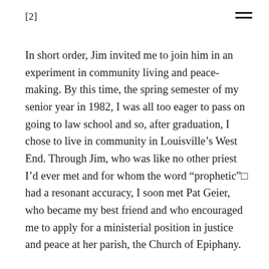[2]
In short order, Jim invited me to join him in an experiment in community living and peace-making. By this time, the spring semester of my senior year in 1982, I was all too eager to pass on going to law school and so, after graduation, I chose to live in community in Louisville’s West End. Through Jim, who was like no other priest I’d ever met and for whom the word “prophetic”□ had a resonant accuracy, I soon met Pat Geier, who became my best friend and who encouraged me to apply for a ministerial position in justice and peace at her parish, the Church of Epiphany.
I was soon hired at that parish as well as Fr. Flynn’s own community at St. William in the city and became